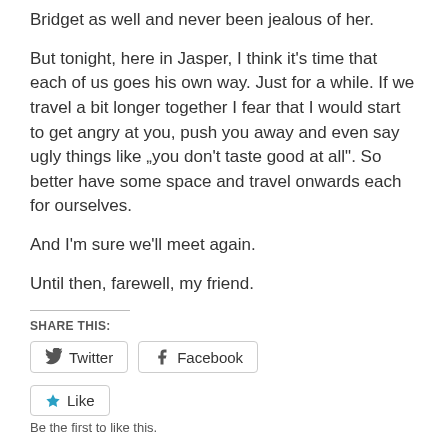Bridget as well and never been jealous of her.
But tonight, here in Jasper, I think it’s time that each of us goes his own way. Just for a while. If we travel a bit longer together I fear that I would start to get angry at you, push you away and even say ugly things like „you don’t taste good at all”. So better have some space and travel onwards each for ourselves.
And I’m sure we’ll meet again.
Until then, farewell, my friend.
SHARE THIS:
[Figure (other): Twitter and Facebook share buttons]
[Figure (other): Like button with star icon]
Be the first to like this.